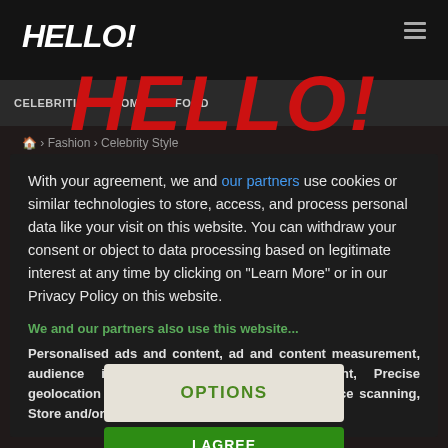[Figure (screenshot): Hello! magazine website screenshot showing navigation bar with HELLO! logo, menu items (CELEBRITIES, HOMES, FOOD), breadcrumb navigation (Fashion > Celebrity Style), partially visible content in background]
HELLO!
With your agreement, we and our partners use cookies or similar technologies to store, access, and process personal data like your visit on this website. You can withdraw your consent or object to data processing based on legitimate interest at any time by clicking on "Learn More" or in our Privacy Policy on this website.
We and our partners also use this website...
Personalised ads and content, ad and content measurement, audience insights and product development, Precise geolocation data, and identification through device scanning, Store and/or access information on a device
OPTIONS
I AGREE